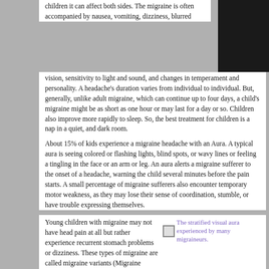children it can affect both sides. The migraine is often accompanied by nausea, vomiting, dizziness, blurred vision, sensitivity to light and sound, and changes in temperament and personality. A headache's duration varies from individual to individual. But, generally, unlike adult migraine, which can continue up to four days, a child's migraine might be as short as one hour or may last for a day or so. Children also improve more rapidly to sleep. So, the best treatment for children is a nap in a quiet, and dark room.
[Figure (other): Dark black rectangle image placeholder in the top right corner of the page]
About 15% of kids experience a migraine headache with an Aura. A typical aura is seeing colored or flashing lights, blind spots, or wavy lines or feeling a tingling in the face or an arm or leg. An aura alerts a migraine sufferer to the onset of a headache, warning the child several minutes before the pain starts. A small percentage of migraine sufferers also encounter temporary motor weakness, as they may lose their sense of coordination, stumble, or have trouble expressing themselves.
Young children with migraine may not have head pain at all but rather experience recurrent stomach problems or dizziness. These types of migraine are called migraine variants (Migraine Variants will be addressed in a future article). Children who have migraine also
[Figure (photo): The stratified visual aura experienced by many migraineurs.]
The stratified visual aura experienced by many migraineurs.